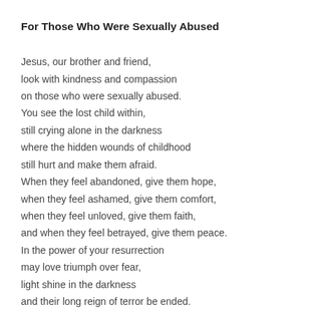For Those Who Were Sexually Abused
Jesus, our brother and friend,
look with kindness and compassion
on those who were sexually abused.
You see the lost child within,
still crying alone in the darkness
where the hidden wounds of childhood
still hurt and make them afraid.
When they feel abandoned, give them hope,
when they feel ashamed, give them comfort,
when they feel unloved, give them faith,
and when they feel betrayed, give them peace.
In the power of your resurrection
may love triumph over fear,
light shine in the darkness
and their long reign of terror be ended.